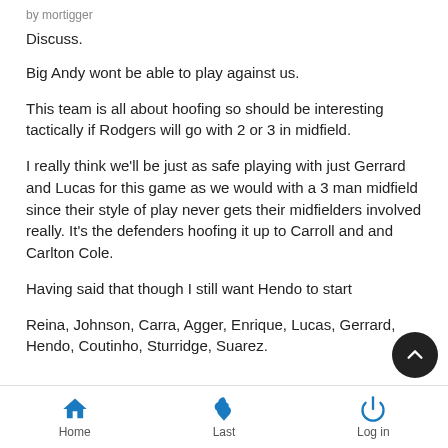by mortigger
Discuss.
Big Andy wont be able to play against us.
This team is all about hoofing so should be interesting tactically if Rodgers will go with 2 or 3 in midfield.
I really think we'll be just as safe playing with just Gerrard and Lucas for this game as we would with a 3 man midfield since their style of play never gets their midfielders involved really. It's the defenders hoofing it up to Carroll and and Carlton Cole.
Having said that though I still want Hendo to start
Reina, Johnson, Carra, Agger, Enrique, Lucas, Gerrard, Hendo, Coutinho, Sturridge, Suarez.
Home | Last | Log in